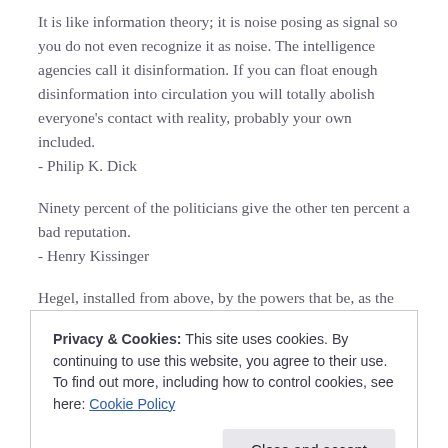It is like information theory; it is noise posing as signal so you do not even recognize it as noise. The intelligence agencies call it disinformation. If you can float enough disinformation into circulation you will totally abolish everyone's contact with reality, probably your own included.
- Philip K. Dick
Ninety percent of the politicians give the other ten percent a bad reputation.
- Henry Kissinger
Hegel, installed from above, by the powers that be, as the certified Great Philosopher, was a flat-headed, insipid, nauseating, illiterate
Privacy & Cookies: This site uses cookies. By continuing to use this website, you agree to their use.
To find out more, including how to control cookies, see here: Cookie Policy
has enabled him to achieve the intellectual corruption of a whole